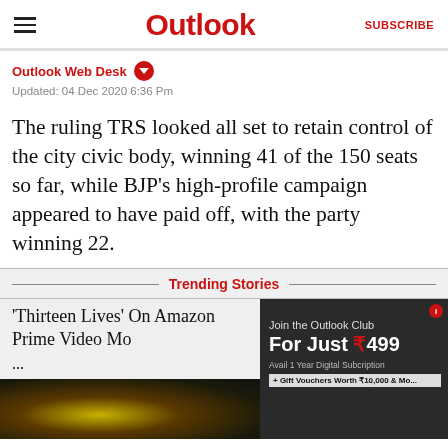Outlook | SUBSCRIBE
Outlook Web Desk
Updated: 04 Dec 2020 6:36 Pm
The ruling TRS looked all set to retain control of the city civic body, winning 41 of the 150 seats so far, while BJP's high-profile campaign appeared to have paid off, with the party winning 22.
Trending Stories
'Thirteen Lives' On Amazon Prime Video Mo ...
[Figure (photo): Dark image of people, likely from a movie or news story related to 'Thirteen Lives']
[Figure (infographic): Advertisement: Join the Outlook Club For Just ₹499. Avail 1 Year Digital Subcription + Gift Vouchers Worth ₹10,000 & Mo...]